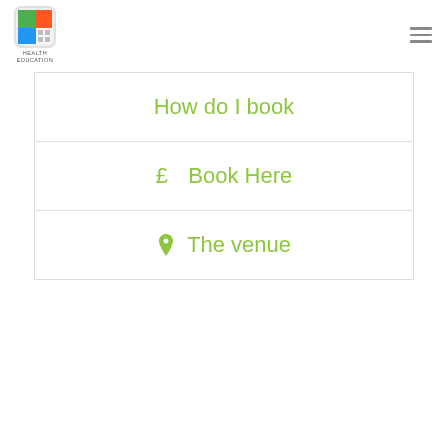Health Education logo and navigation menu
How do I book
£  Book Here
The venue